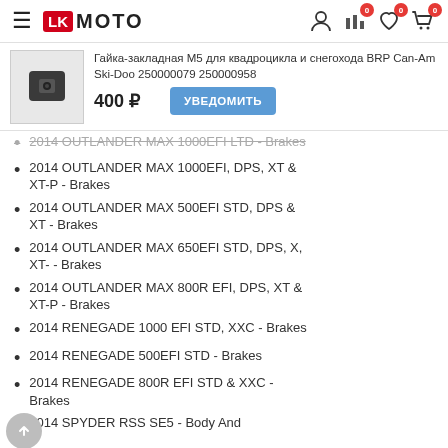LK MOTO
[Figure (photo): Product photo of a black plastic M5 nut insert for ATV and snowmobile BRP Can-Am Ski-Doo]
Гайка-закладная М5 для квадроцикла и снегохода BRP Can-Am Ski-Doo 250000079 250000958
400 ₽
2014 OUTLANDER MAX 1000EFI LTD - Brakes
2014 OUTLANDER MAX 1000EFI, DPS, XT & XT-P - Brakes
2014 OUTLANDER MAX 500EFI STD, DPS & XT - Brakes
2014 OUTLANDER MAX 650EFI STD, DPS, X, XT- - Brakes
2014 OUTLANDER MAX 800R EFI, DPS, XT & XT-P - Brakes
2014 RENEGADE 1000 EFI STD, XXC - Brakes
2014 RENEGADE 500EFI STD - Brakes
2014 RENEGADE 800R EFI STD & XXC - Brakes
2014 SPYDER RSS SE5 - Body And